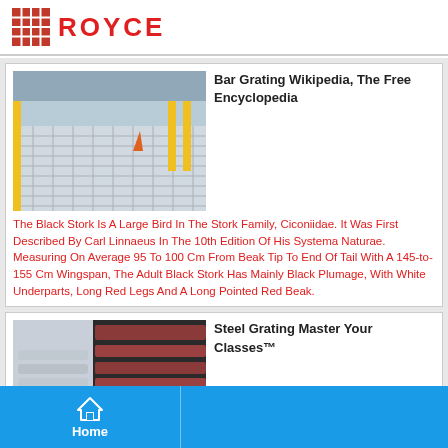ROYCE
[Figure (photo): Industrial metal bar grating floor with yellow safety railings in warehouse]
Bar Grating Wikipedia, The Free Encyclopedia
The Black Stork Is A Large Bird In The Stork Family, Ciconiidae. It Was First Described By Carl Linnaeus In The 10th Edition Of His Systema Naturae. Measuring On Average 95 To 100 Cm From Beak Tip To End Of Tail With A 145-to-155 Cm Wingspan, The Adult Black Stork Has Mainly Black Plumage, With White Underparts, Long Red Legs And A Long Pointed Red Beak.
[Figure (photo): Steel grating and metal tubes/pipes stacked in industrial storage area]
Steel Grating Master Your Classes™
Home